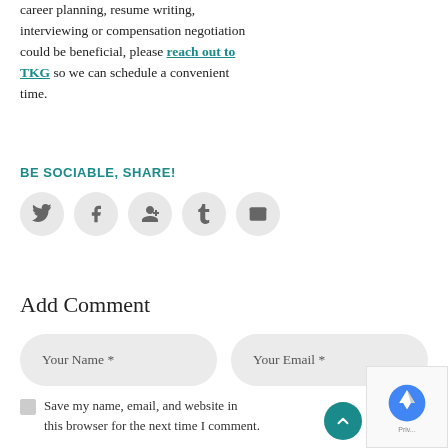career planning, resume writing, interviewing or compensation negotiation could be beneficial, please reach out to TKG so we can schedule a convenient time.
BE SOCIABLE, SHARE!
[Figure (infographic): Five social media share buttons in gray circles: Twitter bird icon, Facebook f icon, Google+ icon, Tumblr t icon, Email envelope icon]
Add Comment
[Figure (infographic): Two rounded input fields side by side: 'Your Name *' and 'Your Email *', followed by a checkbox with text 'Save my name, email, and website in this browser for the next time I comment.']
[Figure (other): reCAPTCHA widget and a teal circular scroll-to-top button with an upward arrow]